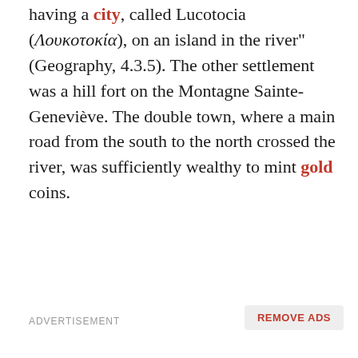having a city, called Lucotocia (Λουκοτοκία), on an island in the river" (Geography, 4.3.5). The other settlement was a hill fort on the Montagne Sainte-Geneviève. The double town, where a main road from the south to the north crossed the river, was sufficiently wealthy to mint gold coins.
ADVERTISEMENT
REMOVE ADS